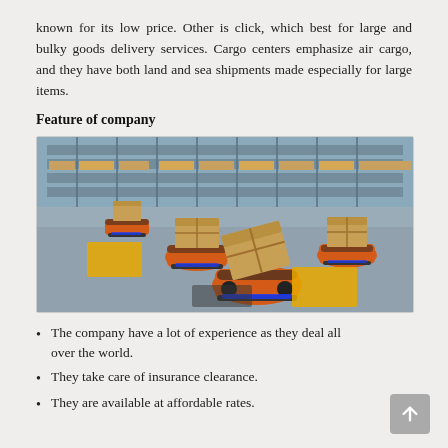known for its low price. Other is click, which best for large and bulky goods delivery services. Cargo centers emphasize air cargo, and they have both land and sea shipments made especially for large items.
Feature of company
[Figure (photo): A warehouse with orange autonomous mobile robots (AMRs) carrying cardboard boxes on a concrete floor, with tall blue shelving racks filled with goods in the background.]
The company have a lot of experience as they deal all over the world.
They take care of insurance clearance.
They are available at affordable rates.